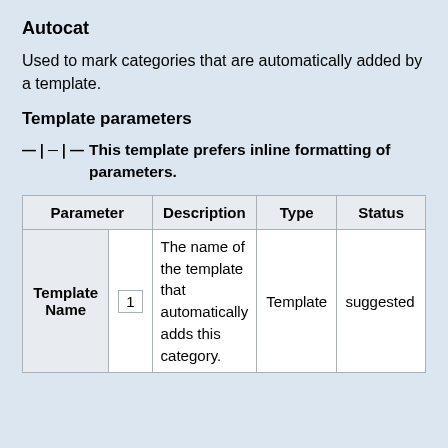Autocat
Used to mark categories that are automatically added by a template.
Template parameters
This template prefers inline formatting of parameters.
| Parameter | Description | Type | Status |
| --- | --- | --- | --- |
| Template Name | 1 | The name of the template that automatically adds this category. | Template | suggested |